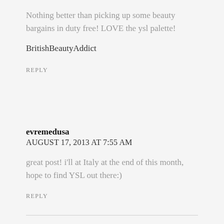Nothing better than picking up some beauty bargains in duty free! LOVE the ysl palette!
BritishBeautyAddict
REPLY
evremedusa
AUGUST 17, 2013 AT 7:55 AM
great post! i'll at Italy at the end of this month, hope to find YSL out there:)
REPLY